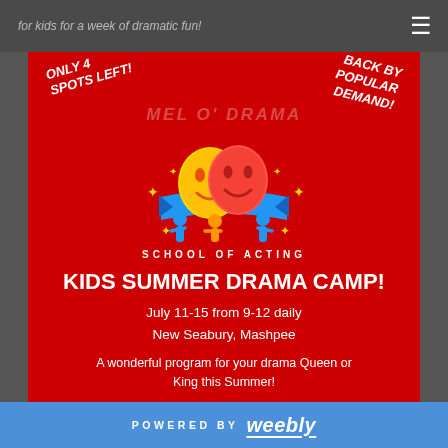for kids for a week of dramatic fun!
[Figure (illustration): Mel O' Drama School of Acting logo on red background with comedy/tragedy masks in yellow and red, blue ribbon banner, and children figures. Text overlays: 'ONLY 4 SPOTS LEFT!' on the left (rotated) and 'BACK BY POPULAR DEMAND!' on the right (rotated). Bottom text: 'KIDS SUMMER DRAMA CAMP!' with dates 'July 11-15 from 9-12 daily / New Seabury, Mashpee' and tagline 'A wonderful program for your drama Queen or King this Summer!']
POWERED BY weebly